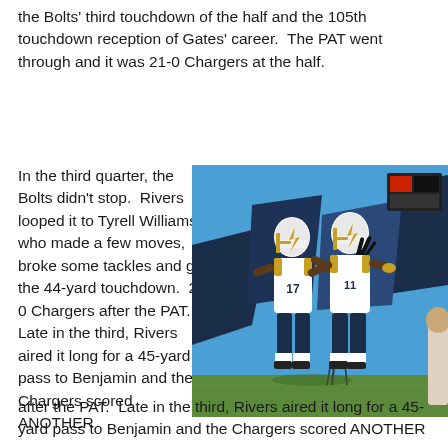the Bolts' third touchdown of the half and the 105th touchdown reception of Gates' career.  The PAT went through and it was 21-0 Chargers at the half.
In the third quarter, the Bolts didn't stop.  Rivers looped it to Tyrell Williams who made a few moves, broke some tackles and got the 44-yard touchdown.  28-0 Chargers after the PAT.  Late in the third, Rivers aired it long for a 45-yard pass to Benjamin and the Chargers scored ANOTHER
[Figure (photo): Two San Diego Chargers players in white uniforms and yellow accents celebrating with a chest bump/jump, in front of a blue and dark navy backdrop at a stadium.]